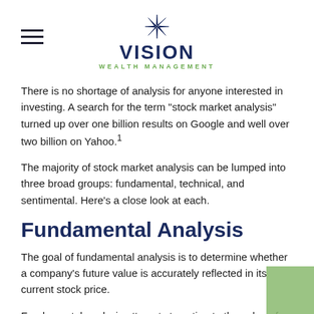VISION WEALTH MANAGEMENT
There is no shortage of analysis for anyone interested in investing. A search for the term "stock market analysis" turned up over one billion results on Google and well over two billion on Yahoo.¹
The majority of stock market analysis can be lumped into three broad groups: fundamental, technical, and sentimental. Here's a close look at each.
Fundamental Analysis
The goal of fundamental analysis is to determine whether a company's future value is accurately reflected in its current stock price.
Fundamental analysis attempts to estimate the value of a particular stock based on a variety of factors, such as the